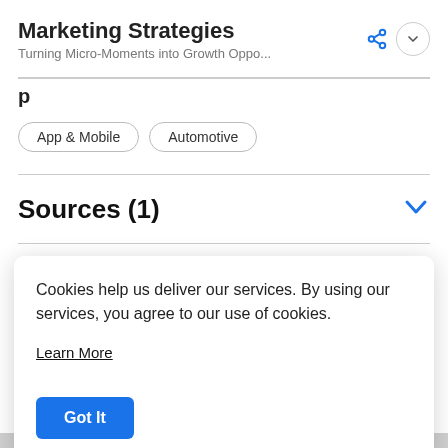Marketing Strategies
Turning Micro-Moments into Growth Oppo...
p
App & Mobile
Automotive
Sources (1)
Cookies help us deliver our services. By using our services, you agree to our use of cookies.
Learn More
Got It